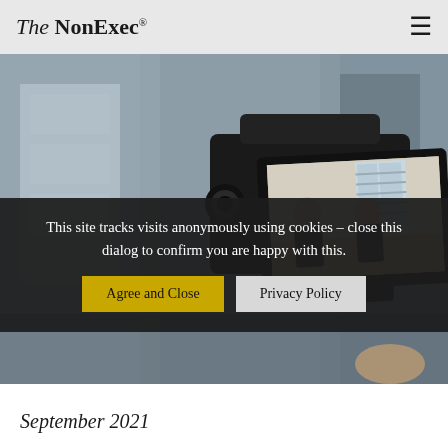The NonExec®
[Figure (photo): Close-up of a video camera monitor showing two men in suits having a conversation at a conference table in an office setting.]
This site tracks visits anonymously using cookies – close this dialog to confirm you are happy with this.
Agree and Close
Privacy Policy
September 2021